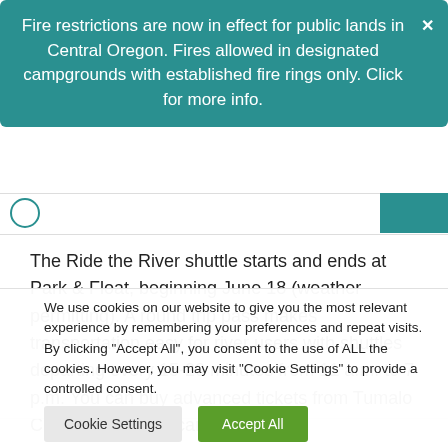Fire restrictions are now in effect for public lands in Central Oregon. Fires allowed in designated campgrounds with established fire rings only. Click for more info.
The Ride the River shuttle starts and ends at Park & Float, beginning June 18 (weather permitting). A round trip pass makes transportation easy for river users with shuttles departing every 15-20 minutes from 11 a.m. to 7 p.m. You can buy advanced tickets from Tumalo Creek online. You can
We use cookies on our website to give you the most relevant experience by remembering your preferences and repeat visits. By clicking "Accept All", you consent to the use of ALL the cookies. However, you may visit "Cookie Settings" to provide a controlled consent.
Cookie Settings | Accept All